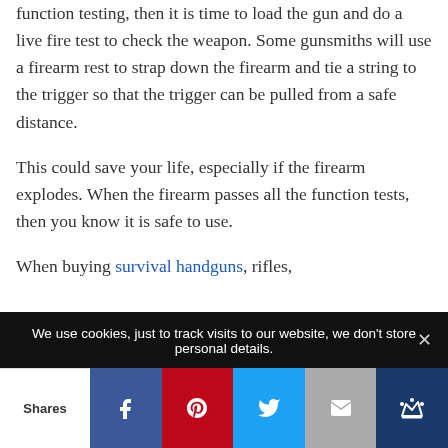function testing, then it is time to load the gun and do a live fire test to check the weapon. Some gunsmiths will use a firearm rest to strap down the firearm and tie a string to the trigger so that the trigger can be pulled from a safe distance.
This could save your life, especially if the firearm explodes. When the firearm passes all the function tests, then you know it is safe to use.
When buying survival handguns, rifles,
We use cookies, just to track visits to our website, we don't store personal details.
Shares | Facebook | Pinterest | Twitter | Email | Crown